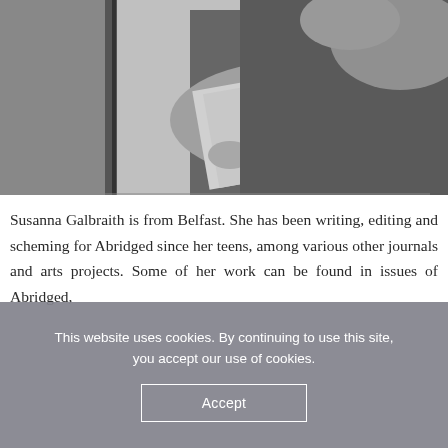[Figure (photo): Black and white photo of a woman reading from papers, partial view showing torso and arms, with a microphone stand visible on the left side. Indoor setting.]
Susanna Galbraith is from Belfast. She has been writing, editing and scheming for Abridged since her teens, among various other journals and arts projects. Some of her work can be found in issues of Abridged,
This website uses cookies. By continuing to use this site, you accept our use of cookies.
Accept